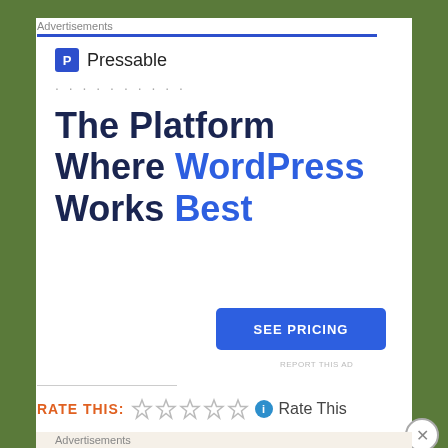Advertisements
[Figure (logo): Pressable logo with blue P icon and brand name]
The Platform Where WordPress Works Best
SEE PRICING
REPORT THIS AD
RATE THIS: ☆☆☆☆☆ ℹ Rate This
Advertisements
Professionally designed sites in less than a week
[Figure (logo): WordPress W logo]
REPORT THIS AD